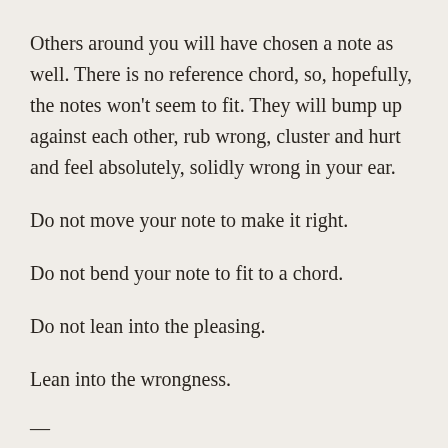Others around you will have chosen a note as well. There is no reference chord, so, hopefully, the notes won't seem to fit. They will bump up against each other, rub wrong, cluster and hurt and feel absolutely, solidly wrong in your ear.
Do not move your note to make it right.
Do not bend your note to fit to a chord.
Do not lean into the pleasing.
Lean into the wrongness.